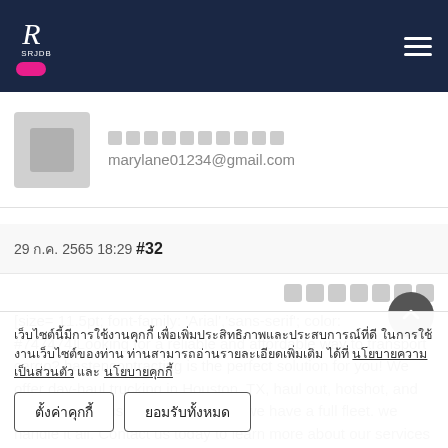[Figure (logo): White stylized R logo with SRJDB text on dark navy background, with pink badge below]
marylane01234@gmail.com
29 ก.ค. 2565 18:29 #32
[size= 11.5pt; font-family: 'Arial','sans-serif'; color: #747474]Looking for a reliable and affordable way to transport cargo? hastencontracting is the perfect solution for you! We offer day-haul trucking in Houston, TX, haul out, hotshot, and Contractor Houston tx agricultural, we have a full fleet. we handle it all. Contact us today to learn more about our services and how
เว็บไซต์นี้มีการใช้งานคุกกี้ เพื่อเพิ่มประสิทธิภาพและประสบการณ์ที่ดี ในการใช้งานเว็บไซต์ของท่าน ท่านสามารถอ่านรายละเอียดเพิ่มเติม ได้ที่ นโยบายความเป็นส่วนตัว และ นโยบายคุกกี้